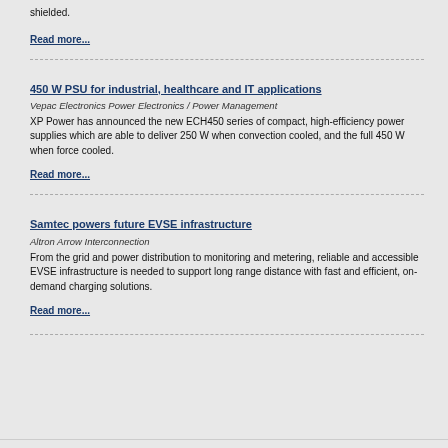shielded.
Read more...
450 W PSU for industrial, healthcare and IT applications
Vepac Electronics Power Electronics / Power Management
XP Power has announced the new ECH450 series of compact, high-efficiency power supplies which are able to deliver 250 W when convection cooled, and the full 450 W when force cooled.
Read more...
Samtec powers future EVSE infrastructure
Altron Arrow Interconnection
From the grid and power distribution to monitoring and metering, reliable and accessible EVSE infrastructure is needed to support long range distance with fast and efficient, on-demand charging solutions.
Read more...